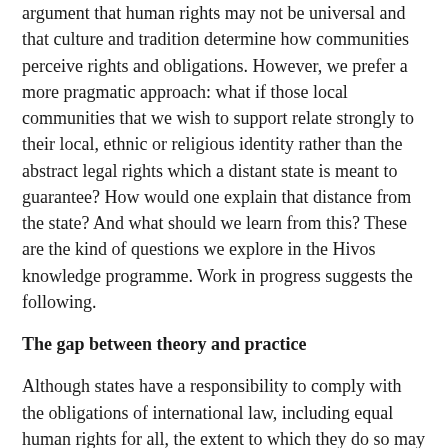argument that human rights may not be universal and that culture and tradition determine how communities perceive rights and obligations. However, we prefer a more pragmatic approach: what if those local communities that we wish to support relate strongly to their local, ethnic or religious identity rather than the abstract legal rights which a distant state is meant to guarantee? How would one explain that distance from the state? And what should we learn from this? These are the kind of questions we explore in the Hivos knowledge programme. Work in progress suggests the following.
The gap between theory and practice
Although states have a responsibility to comply with the obligations of international law, including equal human rights for all, the extent to which they do so may be very different. First, while a state may fully subscribe to ‘the rule of law’ in official statements, it may not do so in actual practice. Public debate about communal violence and secularism in India, for instance, regularly shows the indecisive response of the Indian state, which is said to